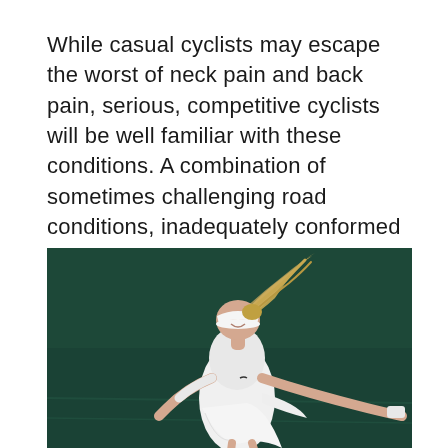While casual cyclists may escape the worst of neck pain and back pain, serious, competitive cyclists will be well familiar with these conditions. A combination of sometimes challenging road conditions, inadequately conformed bicycle, and incorrect posture can all…
[Figure (photo): A female tennis player in white outfit and white visor, leaning forward mid-serve on a green tennis court, with her blonde ponytail flying upward.]